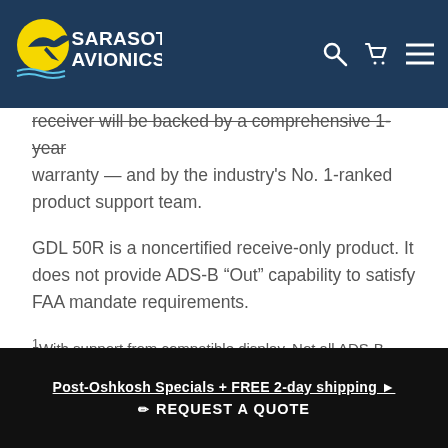Sarasota Avionics
receiver will be backed by a comprehensive 1-year warranty — and by the industry's No. 1-ranked product support team.
GDL 50R is a noncertified receive-only product. It does not provide ADS-B “Out” capability to satisfy FAA mandate requirements.
1With support from compatible display. Not all ADS-B weather products may be available across all devices. Check your Pilot’s Guide for specifics about which products are available on your device.
2View Garmin's growing list of compatible devices
Post-Oshkosh Specials + FREE 2-day shipping  ✏ REQUEST A QUOTE